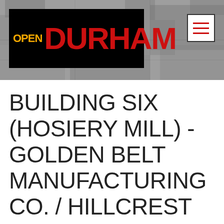[Figure (screenshot): Open Durham website header banner with aerial photograph of Durham buildings in grayscale background. Contains the Open Durham logo (black rectangle with 'OPEN' in yellow and 'DURHAM' in large red bold text) on the left, and a hamburger menu icon (three red horizontal lines in a white bordered box) on the upper right.]
BUILDING SIX (HOSIERY MILL) - GOLDEN BELT MANUFACTURING CO. / HILLCREST HOSIERY MILLS